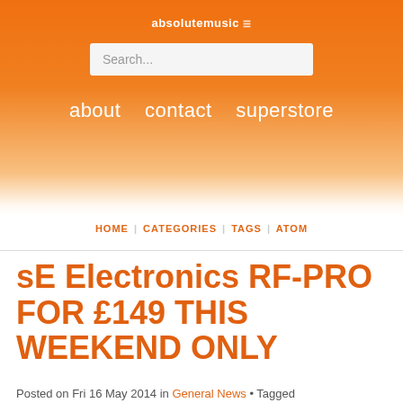absolutemusic
[Figure (screenshot): Search input box with placeholder text 'Search...']
about   contact   superstore
HOME | CATEGORIES | TAGS | ATOM
sE Electronics RF-PRO FOR £149 THIS WEEKEND ONLY
Posted on Fri 16 May 2014 in General News • Tagged